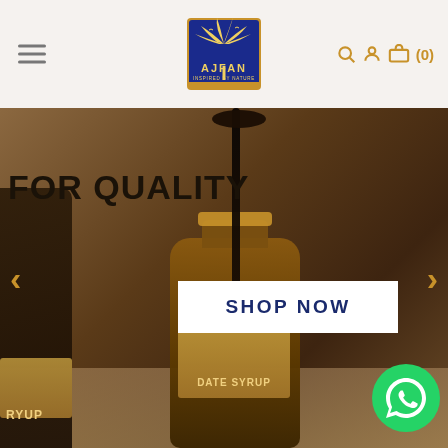[Figure (logo): Ajfan logo - palm tree graphic with blue background, gold text 'AJFAN' and 'INSPIRED BY NATURE']
[Figure (screenshot): E-commerce website screenshot showing Ajfan brand. Navigation bar with hamburger menu, logo, search/account/cart icons. Hero banner with dark date syrup dripping into a jar, text 'FOR QUALITY', 'SHOP NOW' button, 'DATE SYRUP' label, left/right carousel arrows, and WhatsApp chat icon.]